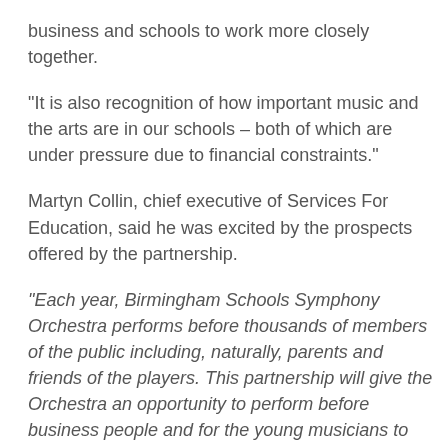business and schools to work more closely together.
“It is also recognition of how important music and the arts are in our schools – both of which are under pressure due to financial constraints.”
Martyn Collin, chief executive of Services For Education, said he was excited by the prospects offered by the partnership.
“Each year, Birmingham Schools Symphony Orchestra performs before thousands of members of the public including, naturally, parents and friends of the players. This partnership will give the Orchestra an opportunity to perform before business people and for the young musicians to engage more widely with future employers. It is also a farsighted demonstration of how two great Birmingham organisations can come